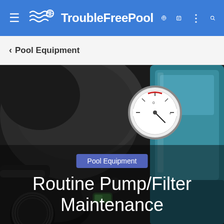TroubleFreePool
< Pool Equipment
[Figure (photo): Close-up photograph of pool pump and filter equipment: dark plastic pump housing with pressure gauge showing dial, and teal/blue filter tank visible in the background, with black pipe fittings in the foreground]
Pool Equipment
Routine Pump/Filter Maintenance